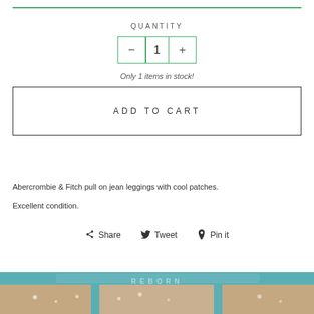QUANTITY
1
Only 1 items in stock!
ADD TO CART
Abercrombie & Fitch pull on jean leggings with cool patches.
Excellent condition.
Share  Tweet  Pin it
[Figure (photo): Store front photo with teal/blue storefront and warm interior lighting visible through windows]